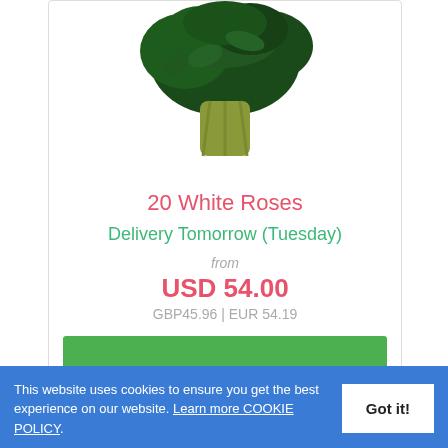[Figure (photo): A bouquet of white roses with green leaves viewed from above, stems gathered at the bottom]
20 White Roses
Delivery Tomorrow (Tuesday)
from
USD 54.00
GBP45.96 | EUR 54.19
DETAILS / BUY NOW
This website uses cookies to ensure you get the best experience on our website. Learn more COOKIE POLICY.